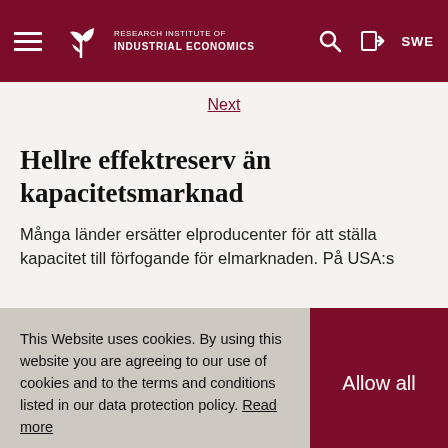Research Institute of Industrial Economics — SWE
Next
Hellre effektreserv än kapacitetsmarknad
Många länder ersätter elproducenter för att ställa kapacitet till förfogande för elmarknaden. På USA:s
This Website uses cookies. By using this website you are agreeing to our use of cookies and to the terms and conditions listed in our data protection policy. Read more
Allow all
Riv inte upp prisområdena på elmarknaden